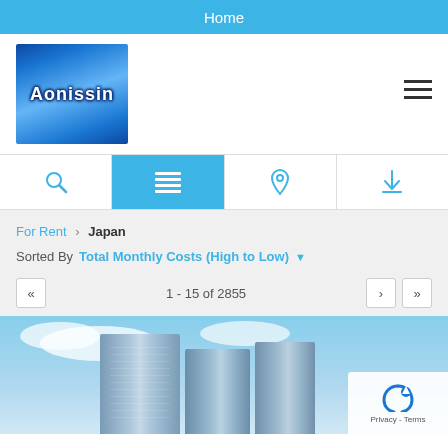Home
[Figure (logo): Aonissin logo — blue gradient background with white stylized text 'Aonissin']
Sorted By  Total Monthly Costs (High to Low)
For Rent › Japan
1 - 15 of 2855
[Figure (photo): Tall modern glass skyscraper buildings against a blue sky with clouds — property listing image]